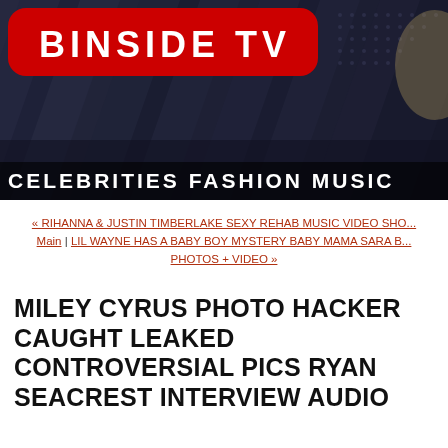[Figure (screenshot): Binside TV website banner header showing logo on red rounded rectangle, diagonal stripe background with cityscape, celebrity photos of Rihanna and another celebrity, and navigation bar with CELEBRITIES FASHION MUSIC]
« RIHANNA & JUSTIN TIMBERLAKE SEXY REHAB MUSIC VIDEO SHO... Main | LIL WAYNE HAS A BABY BOY MYSTERY BABY MAMA SARA B... PHOTOS + VIDEO »
MILEY CYRUS PHOTO HACKER CAUGHT LEAKED CONTROVERSIAL PICS RYAN SEACREST INTERVIEW AUDIO